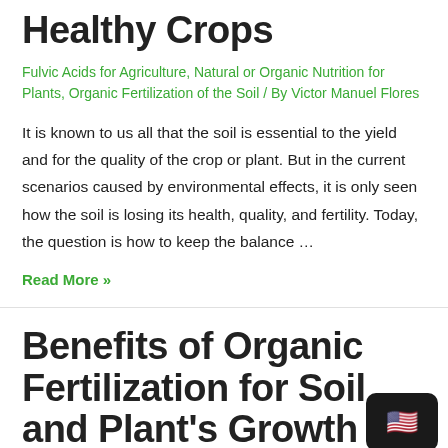Healthy Crops
Fulvic Acids for Agriculture, Natural or Organic Nutrition for Plants, Organic Fertilization of the Soil / By Victor Manuel Flores
It is known to us all that the soil is essential to the yield and for the quality of the crop or plant. But in the current scenarios caused by environmental effects, it is only seen how the soil is losing its health, quality, and fertility. Today, the question is how to keep the balance …
Read More »
Benefits of Organic Fertilization for Soil and Plant's Growth